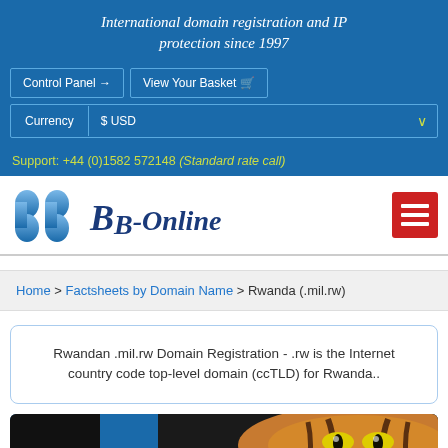International domain registration and IP protection since 1997
Control Panel | View Your Basket
Currency $ USD
Support: +44 (0)1582 572148 (Standard rate call)
[Figure (logo): BB-Online logo with stylized blue BB letters and handwritten script text]
Home > Factsheets by Domain Name > Rwanda (.mil.rw)
Rwandan .mil.rw Domain Registration - .rw is the Internet country code top-level domain (ccTLD) for Rwanda..
[Figure (photo): Partial photo of a tiger or lion face with glowing eyes against dark background]